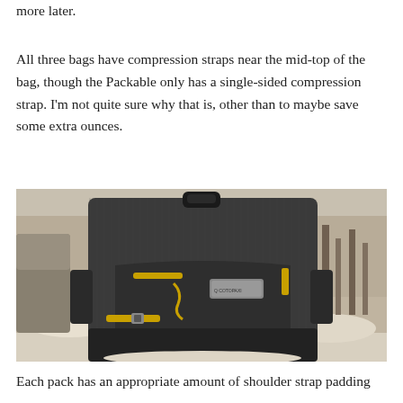more later.
All three bags have compression straps near the mid-top of the bag, though the Packable only has a single-sided compression strap. I'm not quite sure why that is, other than to maybe save some extra ounces.
[Figure (photo): A dark gray backpack with yellow accents and compression straps, photographed outdoors in a snowy winter setting with bare trees in the background.]
Each pack has an appropriate amount of shoulder strap padding